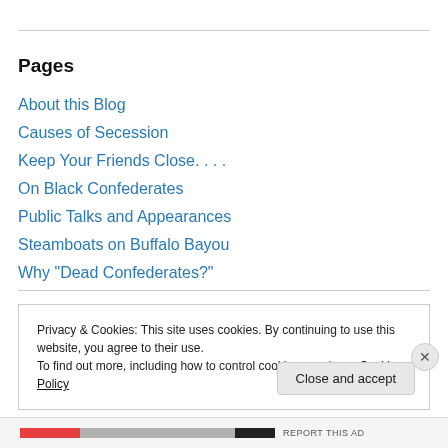Pages
About this Blog
Causes of Secession
Keep Your Friends Close. . . .
On Black Confederates
Public Talks and Appearances
Steamboats on Buffalo Bayou
Why "Dead Confederates?"
Privacy & Cookies: This site uses cookies. By continuing to use this website, you agree to their use.
To find out more, including how to control cookies, see here: Cookie Policy
Close and accept